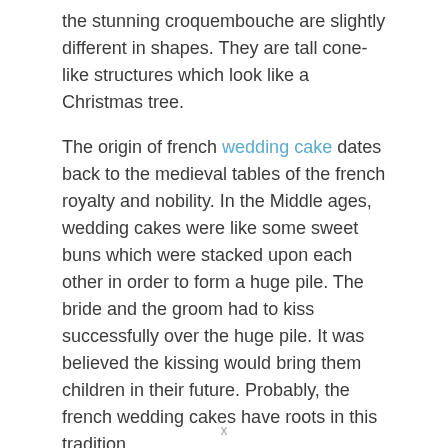the stunning croquembouche are slightly different in shapes. They are tall cone-like structures which look like a Christmas tree.
The origin of french wedding cake dates back to the medieval tables of the french royalty and nobility. In the Middle ages, wedding cakes were like some sweet buns which were stacked upon each other in order to form a huge pile. The bride and the groom had to kiss successfully over the huge pile. It was believed the kissing would bring them children in their future. Probably, the french wedding cakes have roots in this tradition.
Croquembouche (pronounced as 'crow-come-bush')